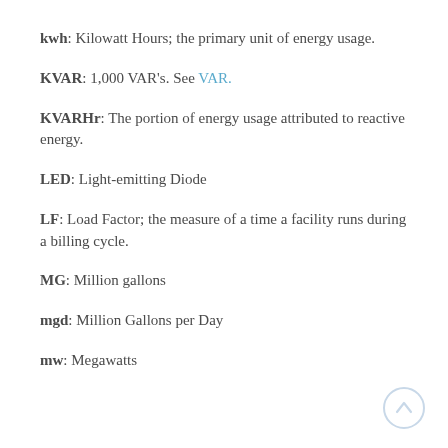kwh: Kilowatt Hours; the primary unit of energy usage.
KVAR: 1,000 VAR's. See VAR.
KVARHr: The portion of energy usage attributed to reactive energy.
LED: Light-emitting Diode
LF: Load Factor; the measure of a time a facility runs during a billing cycle.
MG: Million gallons
mgd: Million Gallons per Day
mw: Megawatts